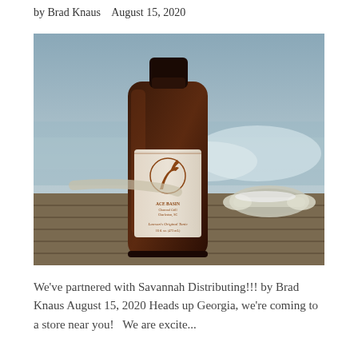by Brad Knaus   August 15, 2020
[Figure (photo): A dark amber glass bottle with a white label showing a heron bird logo and text 'Ace Basin Charcoal Grill Charleston, SC' and 'Lawson's Original Tonic 16 fl. oz. (473 mL)', photographed on weathered wooden dock boards next to a metal dock cleat, with a blurred water background.]
We've partnered with Savannah Distributing!!! by Brad Knaus August 15, 2020 Heads up Georgia, we're coming to a store near you!   We are excite...